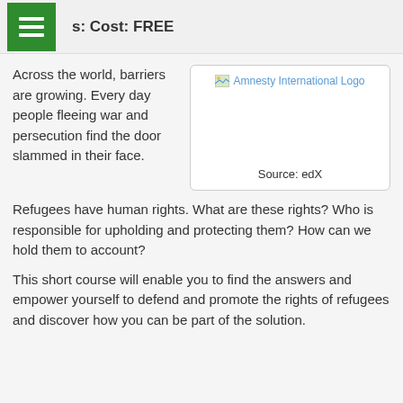s:  Cost: FREE
Across the world, barriers are growing. Every day people fleeing war and persecution find the door slammed in their face.
[Figure (logo): Amnesty International Logo with source attribution: edX]
Refugees have human rights. What are these rights? Who is responsible for upholding and protecting them? How can we hold them to account?
This short course will enable you to find the answers and empower yourself to defend and promote the rights of refugees and discover how you can be part of the solution.